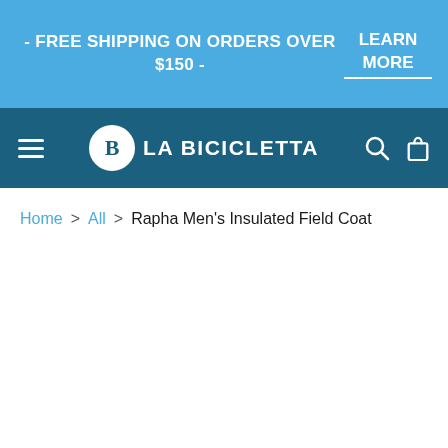- FREE SHIPPING ON ORDERS OVER $150 -
LEARN MORE
LA BICICLETTA
Home > All > Rapha Men's Insulated Field Coat